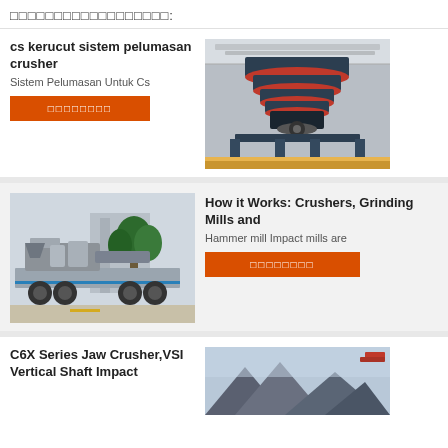□□□□□□□□□□□□□□□□□□:
cs kerucut sistem pelumasan crusher
Sistem Pelumasan Untuk Cs
[Figure (photo): Cone crusher machine viewed from below showing red and black components in a factory setting]
[Figure (photo): Mobile crushing plant on trailer with machinery equipment outdoors]
How it Works: Crushers, Grinding Mills and
Hammer mill Impact mills are
C6X Series Jaw Crusher,VSI Vertical Shaft Impact
[Figure (photo): Mountain landscape with machinery equipment]